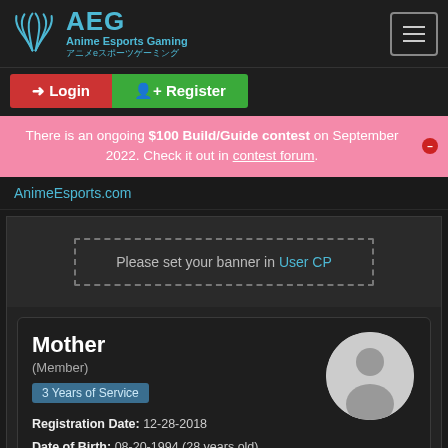[Figure (logo): AEG Anime Esports Gaming logo with teal wing/leaf icon and text in English and Japanese]
Login
Register
There is an ongoing $100 Build/Guide contest on September 2022. Check it out in contest forum.
AnimeEsports.com
Please set your banner in User CP
Mother
(Member)
3 Years of Service
Registration Date: 12-28-2018
Date of Birth: 08-20-1994 (28 years old)
Local Time: 09-06-2022 at 03:21 AM
Status: Offline